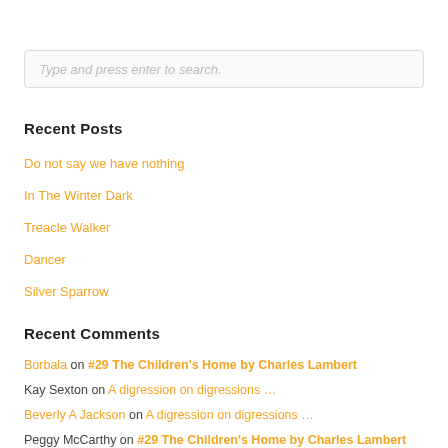Type and press enter to search.
Recent Posts
Do not say we have nothing
In The Winter Dark
Treacle Walker
Dancer
Silver Sparrow
Recent Comments
Borbala on #29 The Children's Home by Charles Lambert
Kay Sexton on A digression on digressions …
Beverly A Jackson on A digression on digressions …
Peggy McCarthy on #29 The Children's Home by Charles Lambert
Kay Sexton on